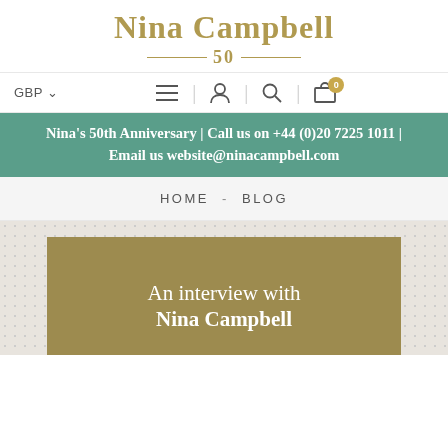Nina Campbell 50
GBP
Nina's 50th Anniversary | Call us on +44 (0)20 7225 1011 | Email us website@ninacampbell.com
HOME - BLOG
An interview with Nina Campbell